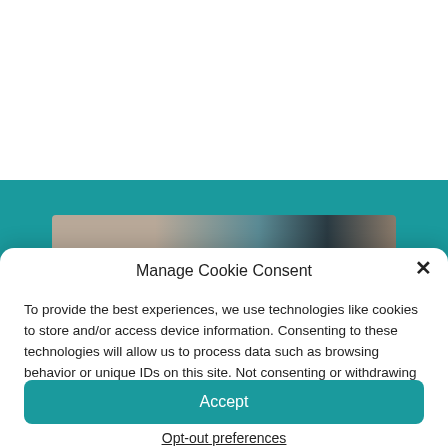[Figure (photo): Partial photo of a person lying down, visible at the top behind the teal background strip]
Manage Cookie Consent
To provide the best experiences, we use technologies like cookies to store and/or access device information. Consenting to these technologies will allow us to process data such as browsing behavior or unique IDs on this site. Not consenting or withdrawing consent, may adversely affect certain features and functions.
Accept
Opt-out preferences